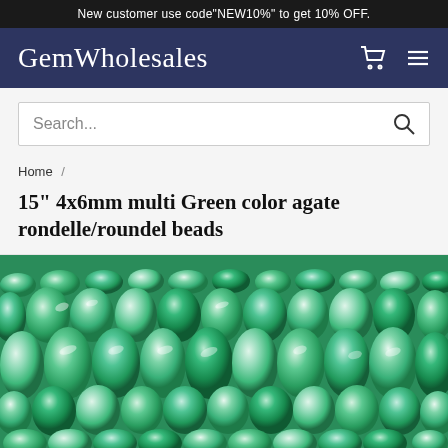New customer use code"NEW10%" to get 10% OFF.
GemWholesales
Search...
Home /
15" 4x6mm multi Green color agate rondelle/roundel beads
[Figure (photo): Close-up photo of multiple strands of green agate rondelle/roundel beads, showing various shades of green with translucent and glossy finishes.]